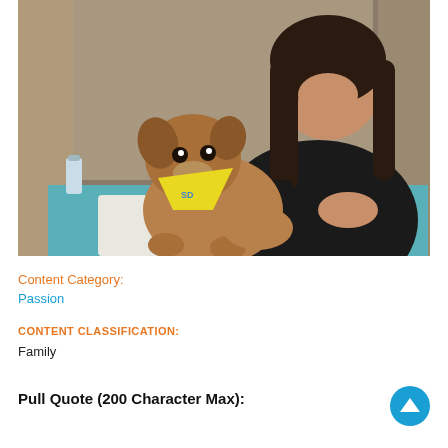[Figure (photo): A smiling young woman with long dark hair wearing a black leather jacket holds a brown puppy wearing a yellow bandana on a white surface, indoors with curtains in the background.]
Content Category:
Passion
CONTENT CLASSIFICATION:
Family
Pull Quote (200 Character Max):